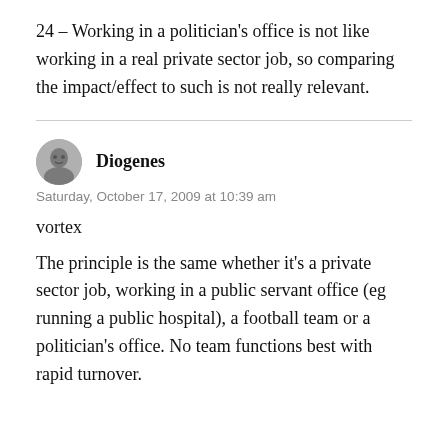24 – Working in a politician's office is not like working in a real private sector job, so comparing the impact/effect to such is not really relevant.
Diogenes
Saturday, October 17, 2009 at 10:39 am
vortex
The principle is the same whether it's a private sector job, working in a public servant office (eg running a public hospital), a football team or a politician's office. No team functions best with rapid turnover.